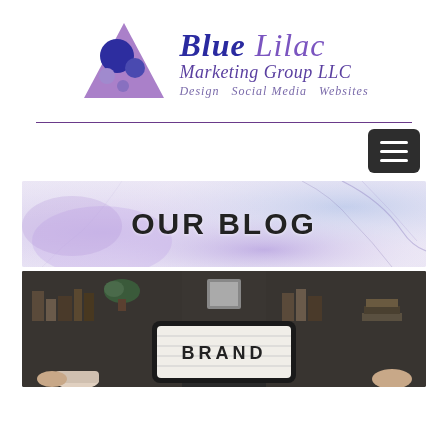[Figure (logo): Blue Lilac Marketing Group LLC logo with purple triangle and circles graphic, handwritten-style text reading 'Blue Lilac Marketing Group LLC Design Social Media Websites']
[Figure (other): Dark hamburger menu button (three white horizontal lines on dark background)]
[Figure (other): Banner with watercolor purple/blue marble background and bold text 'OUR BLOG']
[Figure (photo): Photo of a lightbox sign displaying the word 'BRAND' in a dark home office/study setting with bookshelves in background]